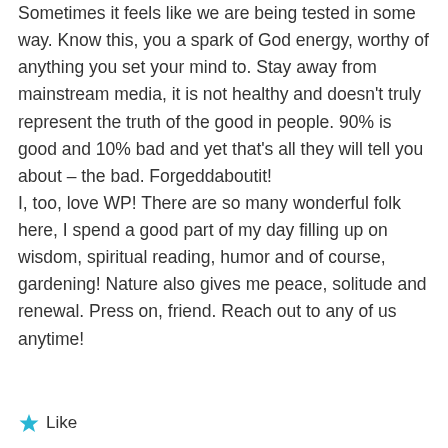Sometimes it feels like we are being tested in some way. Know this, you a spark of God energy, worthy of anything you set your mind to. Stay away from mainstream media, it is not healthy and doesn't truly represent the truth of the good in people. 90% is good and 10% bad and yet that's all they will tell you about – the bad. Forgeddaboutit!
I, too, love WP! There are so many wonderful folk here, I spend a good part of my day filling up on wisdom, spiritual reading, humor and of course, gardening! Nature also gives me peace, solitude and renewal. Press on, friend. Reach out to any of us anytime!
★ Like